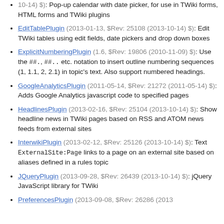(2013-10-14) $): Pop-up calendar with date picker, for use in TWiki forms, HTML forms and TWiki plugins
EditTablePlugin (2013-01-13, $Rev: 25108 (2013-10-14) $): Edit TWiki tables using edit fields, date pickers and drop down boxes
ExplicitNumberingPlugin (1.6, $Rev: 19806 (2010-11-09) $): Use the ##., ##.. etc. notation to insert outline numbering sequences (1, 1.1, 2, 2.1) in topic's text. Also support numbered headings.
GoogleAnalyticsPlugin (2011-05-14, $Rev: 21272 (2011-05-14) $): Adds Google Analytics javascript code to specified pages
HeadlinesPlugin (2013-02-16, $Rev: 25104 (2013-10-14) $): Show headline news in TWiki pages based on RSS and ATOM news feeds from external sites
InterwikiPlugin (2013-02-12, $Rev: 25126 (2013-10-14) $): Text ExternalSite:Page links to a page on an external site based on aliases defined in a rules topic
JQueryPlugin (2013-09-28, $Rev: 26439 (2013-10-14) $): jQuery JavaScript library for TWiki
PreferencesPlugin (2013-09-08, $Rev: 26286 (2013...